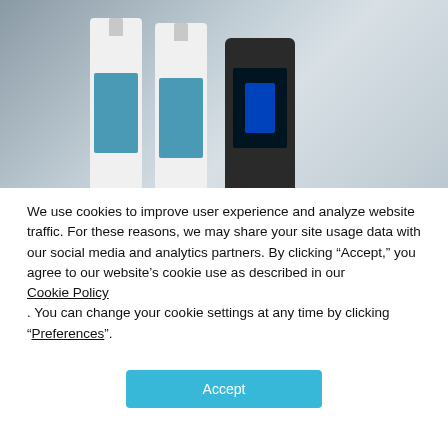[Figure (photo): Two white bottles with teal/blue labels (hair care products) standing next to a dark electronic device with a blue glowing screen, set against a grey background.]
We use cookies to improve user experience and analyze website traffic. For these reasons, we may share your site usage data with our social media and analytics partners. By clicking “Accept,” you agree to our website’s cookie use as described in our Cookie Policy . You can change your cookie settings at any time by clicking “Preferences”.
Accept